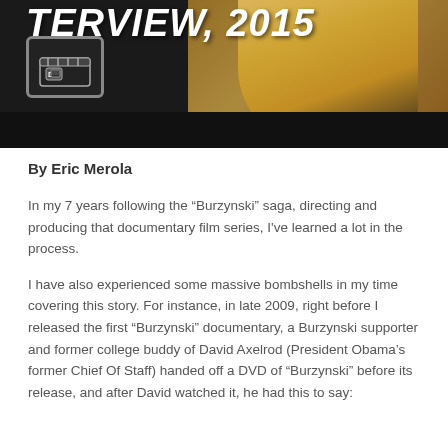[Figure (screenshot): Video thumbnail showing partial title text 'TERVIEW, 2015' with a film clapper icon logo and a blonde woman on a dark background]
By Eric Merola
In my 7 years following the “Burzynski” saga, directing and producing that documentary film series, I've learned a lot in the process.
I have also experienced some massive bombshells in my time covering this story. For instance, in late 2009, right before I released the first “Burzynski” documentary, a Burzynski supporter and former college buddy of David Axelrod (President Obama's former Chief Of Staff) handed off a DVD of “Burzynski” before its release, and after David watched it, he had this to say: